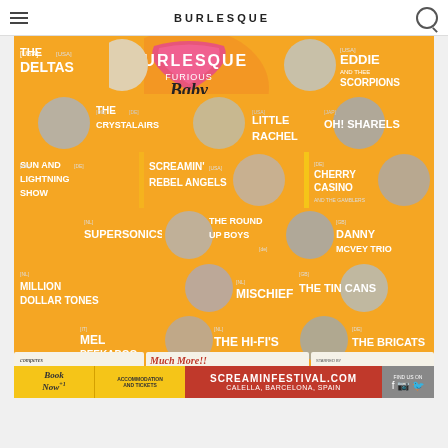Burlesque Furious Baby — Navigation bar
[Figure (infographic): Burlesque Furious Baby festival poster featuring artists: The Deltas, Eddie and Thee Scorpions, The Crystalairs, Little Rachel, Oh! Sharels, Sun and Lightning Show, Screamin Rebel Angels, Cherry Casino and the Gamblers, Supersonics, The Round Up Boys, Danny McVey Trio, Million Dollar Tones, Mischief!, The Tin Cans, Mel Peekaboo, The Hi-Fi's, The Bricats. Also DJ lineup and booking info for Screaminfestival.com in Calella, Barcelona, Spain.]